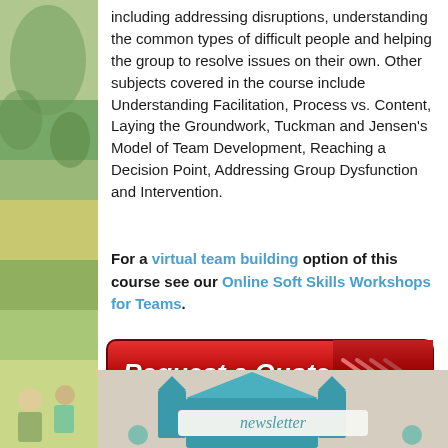including addressing disruptions, understanding the common types of difficult people and helping the group to resolve issues on their own. Other subjects covered in the course include Understanding Facilitation, Process vs. Content, Laying the Groundwork, Tuckman and Jensen's Model of Team Development, Reaching a Decision Point, Addressing Group Dysfunction and Intervention.
For a virtual team building option of this course see our Online Soft Skills Workshops for Teams.
[Figure (other): Red 'Request a Quote' button with chevron arrows on the right side]
[Figure (illustration): Newsletter signup banner with teal envelope/house graphic and 'newsletter' text]